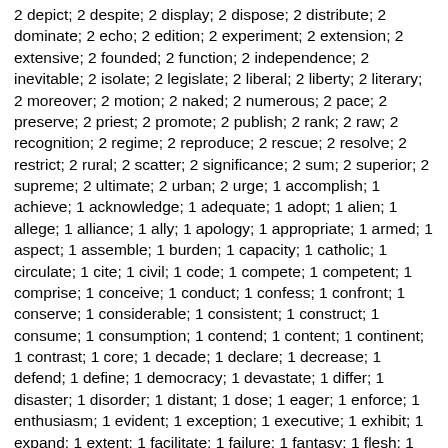2 depict; 2 despite; 2 display; 2 dispose; 2 distribute; 2 dominate; 2 echo; 2 edition; 2 experiment; 2 extension; 2 extensive; 2 founded; 2 function; 2 independence; 2 inevitable; 2 isolate; 2 legislate; 2 liberal; 2 liberty; 2 literary; 2 moreover; 2 motion; 2 naked; 2 numerous; 2 pace; 2 preserve; 2 priest; 2 promote; 2 publish; 2 rank; 2 raw; 2 recognition; 2 regime; 2 reproduce; 2 rescue; 2 resolve; 2 restrict; 2 rural; 2 scatter; 2 significance; 2 sum; 2 superior; 2 supreme; 2 ultimate; 2 urban; 2 urge; 1 accomplish; 1 achieve; 1 acknowledge; 1 adequate; 1 adopt; 1 alien; 1 allege; 1 alliance; 1 ally; 1 apology; 1 appropriate; 1 armed; 1 aspect; 1 assemble; 1 burden; 1 capacity; 1 catholic; 1 circulate; 1 cite; 1 civil; 1 code; 1 compete; 1 competent; 1 comprise; 1 conceive; 1 conduct; 1 confess; 1 confront; 1 conserve; 1 considerable; 1 consistent; 1 construct; 1 consume; 1 consumption; 1 contend; 1 content; 1 continent; 1 contrast; 1 core; 1 decade; 1 declare; 1 decrease; 1 defend; 1 define; 1 democracy; 1 devastate; 1 differ; 1 disaster; 1 disorder; 1 distant; 1 dose; 1 eager; 1 enforce; 1 enthusiasm; 1 evident; 1 exception; 1 executive; 1 exhibit; 1 expand; 1 extent; 1 facilitate; 1 failure; 1 fantasy; 1 flesh; 1 former; 1 formula; 1 framework; 1 generate; 1 goods; 1 graduate; 1 highway; 1 ideology; 1 imply; 1 import; 1 impose; 1 infant; 1 inherit; 1 initiate; 1 instinct; 1 interpret; 1